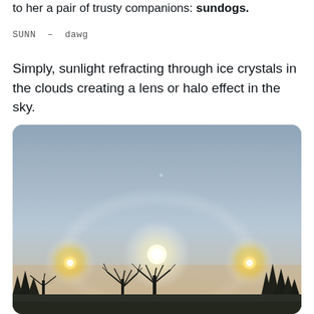to her a pair of trusty companions: sundogs.
SUNN – dawg
Simply, sunlight refracting through ice crystals in the clouds creating a lens or halo effect in the sky.
[Figure (photo): Photograph of a sundog phenomenon showing three bright spots in the winter sky (the sun in the center flanked by two sundogs on either side), with bare trees silhouetted against the grey-blue sky in the foreground.]